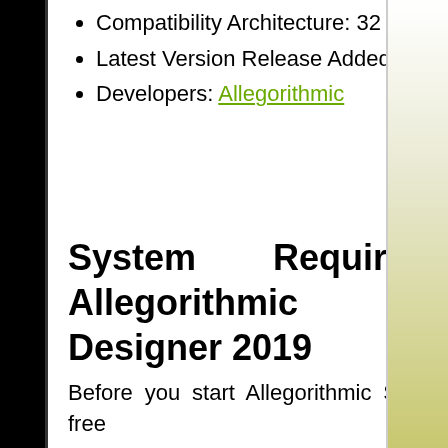Compatibility Architecture: 32 Bit (x86) / 64 Bit (x64)
Latest Version Release Added On: 01st Jun 2019
Developers: Allegorithmic
System Requirements For Allegorithmic Substance Designer 2019
Before you start Allegorithmic Substance Designer 2019 free